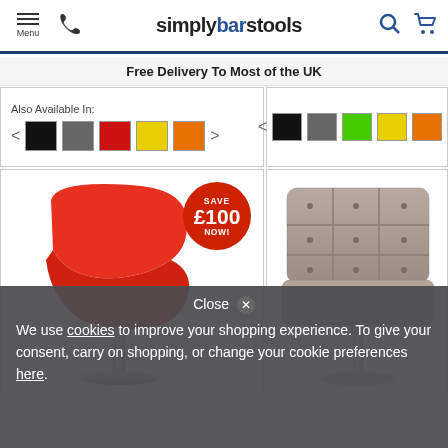simplybarstools — Menu, Phone, Search, Cart
Free Delivery To Most of the UK
Also Available In:
[Figure (screenshot): Color swatches left panel: black, grey, red, yellow, orange with left/right arrows]
[Figure (screenshot): Color swatches right panel: black, grey, green, yellow, orange with left/right arrows]
[Figure (photo): Red modern bar stool chair with chrome base and 'SAVE £100 NOW!' badge]
[Figure (photo): Grey tufted cushioned bar stool chair with chrome base]
Close ✕ We use cookies to improve your shopping experience. To give your consent, carry on shopping, or change your cookie preferences here.